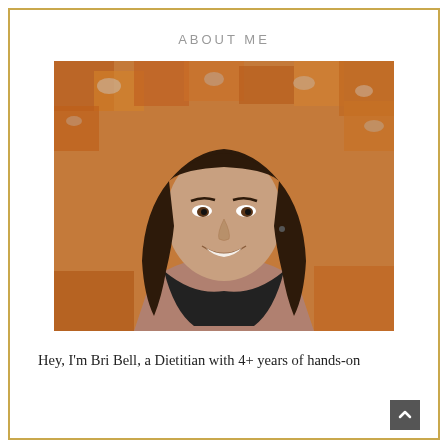ABOUT ME
[Figure (photo): Portrait photo of a woman with long dark hair, wearing a black scarf and mauve top, smiling in front of an autumn leaf background]
Hey, I'm Bri Bell, a Dietitian with 4+ years of hands-on